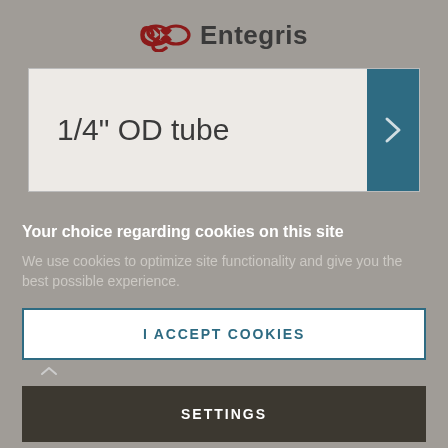[Figure (logo): Entegris logo with double-loop infinity symbol in dark red and company name in dark gray]
1/4" OD tube
Your choice regarding cookies on this site
We use cookies to optimize site functionality and give you the best possible experience.
I ACCEPT COOKIES
SETTINGS